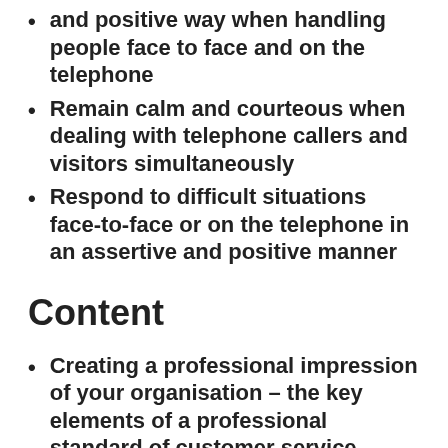and positive way when handling people face to face and on the telephone
Remain calm and courteous when dealing with telephone callers and visitors simultaneously
Respond to difficult situations face-to-face or on the telephone in an assertive and positive manner
Content
Creating a professional impression of your organisation – the key elements of a professional standard of customer service
Skills and behaviours necessary to deliver excellent service
Presenting yourself; projecting a professional image, verbal and non-verbal communication skills
Meetin...